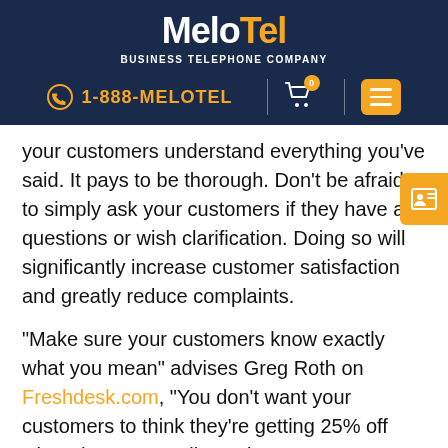MeloTel Business Telephone Company | 1-888-MELOTEL
your customers understand everything you've said. It pays to be thorough. Don't be afraid to simply ask your customers if they have any questions or wish clarification. Doing so will significantly increase customer satisfaction and greatly reduce complaints.
“Make sure your customers know exactly what you mean” advises Greg Roth on Freshdesk.com, “You don’t want your customers to think they’re getting 25% off when they’re actually getting 25% more product. Ask customers if they understand what you’re saying. Use positive language, stay cheerful no matter what, and never end a conversation without confirming the customer understands and is